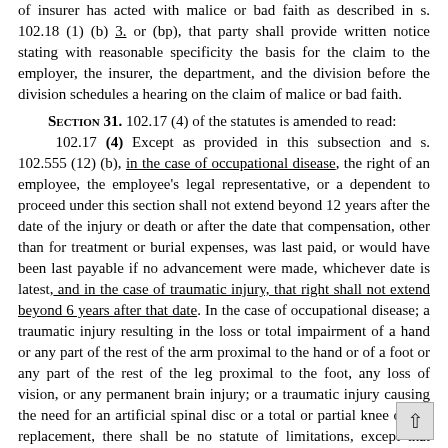or insurer has acted with malice or bad faith as described in s. 102.18 (1) (b) 3. or (bp), that party shall provide written notice stating with reasonable specificity the basis for the claim to the employer, the insurer, the department, and the division before the division schedules a hearing on the claim of malice or bad faith.
SECTION 31. 102.17 (4) of the statutes is amended to read:
102.17 (4) Except as provided in this subsection and s. 102.555 (12) (b), in the case of occupational disease, the right of an employee, the employee's legal representative, or a dependent to proceed under this section shall not extend beyond 12 years after the date of the injury or death or after the date that compensation, other than for treatment or burial expenses, was last paid, or would have been last payable if no advancement were made, whichever date is latest, and in the case of traumatic injury, that right shall not extend beyond 6 years after that date. In the case of occupational disease; a traumatic injury resulting in the loss or total impairment of a hand or any part of the rest of the arm proximal to the hand or of a foot or any part of the rest of the leg proximal to the foot, any loss of vision, or any permanent brain injury; or a traumatic injury causing the need for an artificial spinal disc or a total or partial knee or hip replacement, there shall be no statute of limitations, except that benefits or treatment expense for an occupational disease becoming due 12 years after the date of injury or death or last payment of compensation, other than for treatment or burial expenses, shall be paid from the work injury supplemental benefit fund under s. 102.65 and in the manner provided in s. 102.66 and benefits or treatment expense